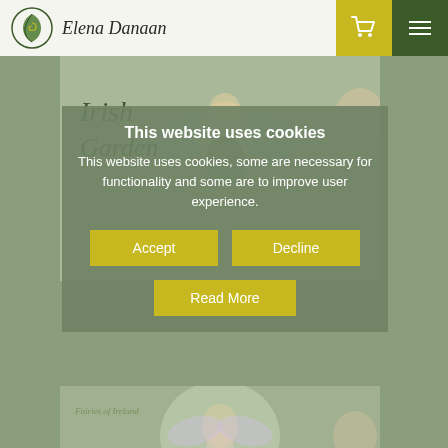[Figure (screenshot): Elena Danaan website header with logo (green leaf with spiral), italic text 'Elena Danaan', yellow cart icon button, and dark green hamburger menu button]
[Figure (screenshot): Website product page background showing fairy greeting card products with muted green background, partially visible product images of Irish Garden Fairies cards and text labels]
This website uses cookies
This website uses cookies, some are necessary for functionality and some are to improve user experience.
Accept
Decline
Rose Fairy Greeting Card
Read More
£ 4.90 EUR
Irish